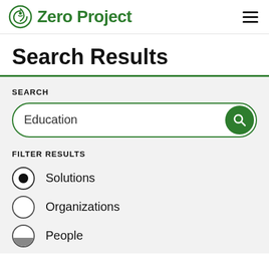Zero Project
Search Results
SEARCH
Education
FILTER RESULTS
Solutions
Organizations
People (partial)